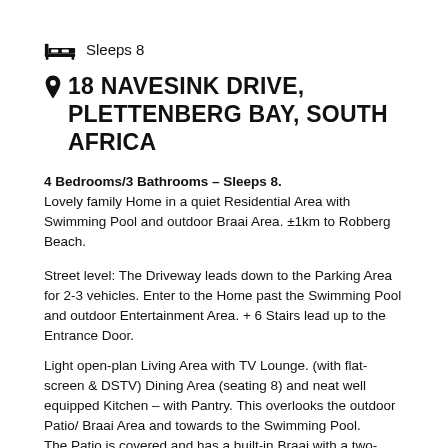Sleeps 8
18 NAVESINK DRIVE, PLETTENBERG BAY, SOUTH AFRICA
4 Bedrooms/3 Bathrooms – Sleeps 8.
Lovely family Home in a quiet Residential Area with Swimming Pool and outdoor Braai Area. ±1km to Robberg Beach.
Street level: The Driveway leads down to the Parking Area for 2-3 vehicles. Enter to the Home past the Swimming Pool and outdoor Entertainment Area. + 6 Stairs lead up to the Entrance Door.
Light open-plan Living Area with TV Lounge. (with flat-screen & DSTV) Dining Area (seating 8) and neat well equipped Kitchen – with Pantry. This overlooks the outdoor Patio/ Braai Area and towards to the Swimming Pool.
The Patio is covered and has a built-in Braai with a two-plate Gas